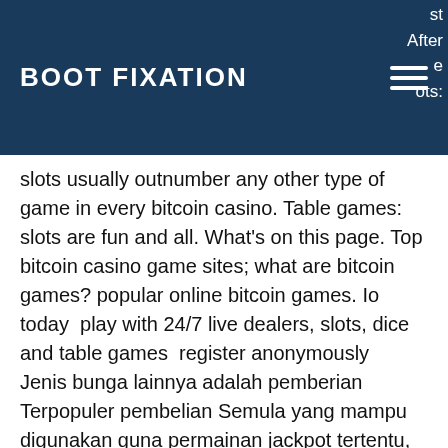BOOT FIXATION
slots usually outnumber any other type of game in every bitcoin casino. Table games: slots are fun and all. What's on this page. Top bitcoin casino game sites; what are bitcoin games? popular online bitcoin games. Io today  play with 24/7 live dealers, slots, dice and table games  register anonymously
Jenis bunga lainnya adalah pemberian Terpopuler pembelian Semula yang mampu digunakan guna permainan jackpot tertentu, popular bitcoin casino card games.
Please follow & like us :) Hotline Center. Lakukan Deposit Gampang Melalui Agen Judi Online Daftar Dan Buat ID Baru Bermain Judi Bola Piala Eropa Euro Banyak Pilihan Pada Permainan Judi Bola Online Judi Bola Menjadi Permainan Judi Yang